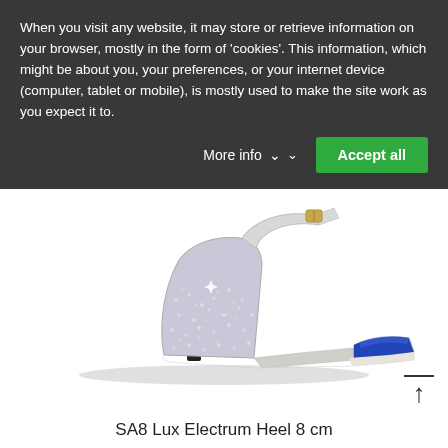[Figure (photo): Product photo of a high-heel dance shoe with silver glitter back/heel and royal blue satin toe front, on a white background. The shoe has an ankle strap with a buckle and a stiletto heel approximately 8 cm.]
When you visit any website, it may store or retrieve information on your browser, mostly in the form of 'cookies'. This information, which might be about you, your preferences, or your internet device (computer, tablet or mobile), is mostly used to make the site work as you expect it to.
More info
Accept all
SA8 Lux Electrum Heel 8 cm